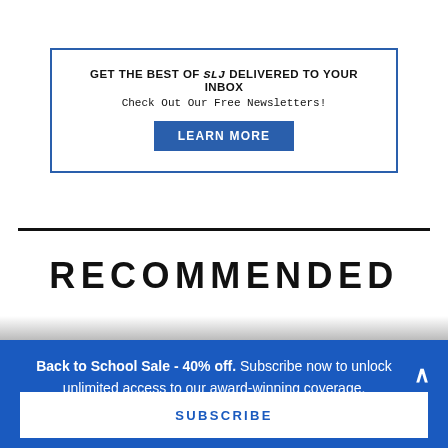[Figure (infographic): Newsletter signup box with blue border. Headline: GET THE BEST OF SLJ DELIVERED TO YOUR INBOX. Subtext: Check Out Our Free Newsletters! Blue LEARN MORE button.]
RECOMMENDED
Back to School Sale - 40% off. Subscribe now to unlock unlimited access to our award-winning coverage.
SUBSCRIBE